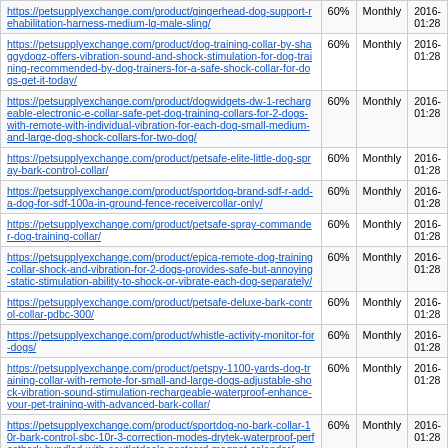| URL | Priority | Change Frequency | Last Modified |
| --- | --- | --- | --- |
| https://petsupplyexchange.com/product/gingerhead-dog-support-rehabilitation-harness-medium-lg-male-sling/ | 60% | Monthly | 2016-
01:28 |
| https://petsupplyexchange.com/product/dog-training-collar-by-shaggydogz-offers-vibration-sound-and-shock-stimulation-for-dog-training-recommended-by-dog-trainers-for-a-safe-shock-collar-for-dogs-get-it-today/ | 60% | Monthly | 2016-
01:28 |
| https://petsupplyexchange.com/product/dogwidgets-dw-1-rechargeable-electronic-e-collar-safe-pet-dog-training-collars-for-2-dogs-with-remote-with-individual-vibration-for-each-dog-small-medium-and-large-dog-shock-collars-for-two-dog/ | 60% | Monthly | 2016-
01:28 |
| https://petsupplyexchange.com/product/petsafe-elite-little-dog-spray-bark-control-collar/ | 60% | Monthly | 2016-
01:28 |
| https://petsupplyexchange.com/product/sportdog-brand-sdf-r-add-a-dog-for-sdf-100a-in-ground-fence-receivercollar-only/ | 60% | Monthly | 2016-
01:28 |
| https://petsupplyexchange.com/product/petsafe-spray-commander-dog-training-collar/ | 60% | Monthly | 2016-
01:28 |
| https://petsupplyexchange.com/product/epica-remote-dog-training-collar-shock-and-vibration-for-2-dogs-provides-safe-but-annoying-static-stimulation-ability-to-shock-or-vibrate-each-dog-separately/ | 60% | Monthly | 2016-
01:28 |
| https://petsupplyexchange.com/product/petsafe-deluxe-bark-control-collar-pdbc-300/ | 60% | Monthly | 2016-
01:28 |
| https://petsupplyexchange.com/product/whistle-activity-monitor-for-dogs/ | 60% | Monthly | 2016-
01:28 |
| https://petsupplyexchange.com/product/petspy-1100-yards-dog-training-collar-with-remote-for-small-and-large-dogs-adjustable-shock-vibration-sound-stimulation-rechargeable-waterproof-enhance-your-pet-training-with-advanced-bark-collar/ | 60% | Monthly | 2016-
01:28 |
| https://petsupplyexchange.com/product/sportdog-no-bark-collar-10r-bark-control-sbc-10r-3-correction-modes-drytek-waterproof-perfectbark-bundled-with-eoutletdeals-postcard-magnet-calendar/ | 60% | Monthly | 2016-
01:28 |